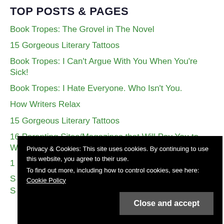TOP POSTS & PAGES
Book Tropes: The Grovel in The Novel
15 Gorgeous Literary Tattoos
Book Tropes: I Can't Argue With You When You're Sick!
Book Tropes: I Hate Everyone. Who Isn't You.
How Writers Relax
15 Gorgeous Literary Tattoos
16 Parenting Sites/Magazines that Will Pay You to Write for Them
Privacy & Cookies: This site uses cookies. By continuing to use this website, you agree to their use.
To find out more, including how to control cookies, see here: Cookie Policy
Close and accept